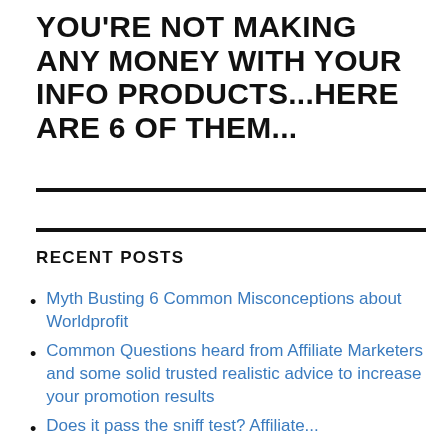YOU'RE NOT MAKING ANY MONEY WITH YOUR INFO PRODUCTS...HERE ARE 6 OF THEM...
RECENT POSTS
Myth Busting 6 Common Misconceptions about Worldprofit
Common Questions heard from Affiliate Marketers and some solid trusted realistic advice to increase your promotion results
Does it pass the sniff test? Affiliate...